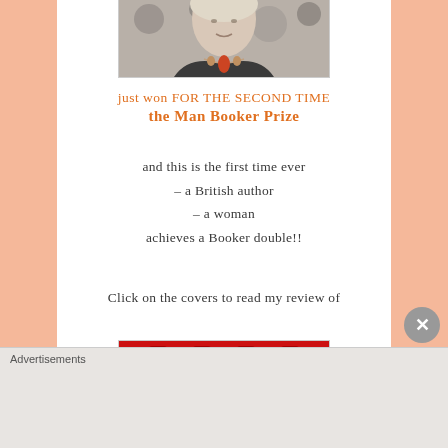[Figure (photo): Author photo cropped at top, showing a woman wearing a necklace with a red pendant]
just won FOR THE SECOND TIME
the Man Booker Prize
and this is the first time ever
– a British author
– a woman
achieves a Booker double!!
Click on the covers to read my review of
[Figure (photo): Red book cover partially visible at bottom, with letters visible]
Advertisements